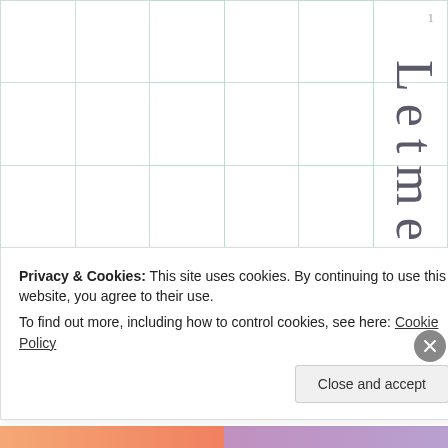1
|  |  |  |  |  |  |
|  |  |  |  |  |  |
|  |  |  |  |  |  |
|  |  |  |  |  |  |
Letmesend
Privacy & Cookies: This site uses cookies. By continuing to use this website, you agree to their use.
To find out more, including how to control cookies, see here: Cookie Policy
Close and accept